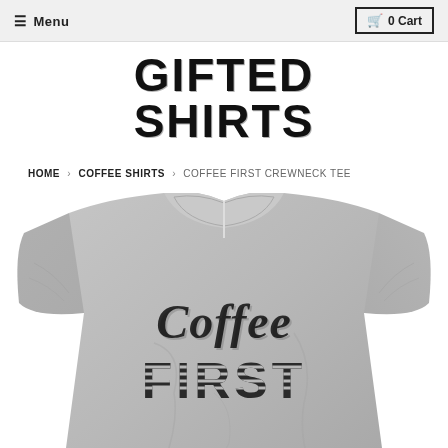≡ Menu   🛒 0 Cart
GIFTED SHIRTS
HOME › COFFEE SHIRTS › COFFEE FIRST CREWNECK TEE
[Figure (photo): Gray crewneck t-shirt with 'Coffee First' printed on the chest in black lettering — 'Coffee' in cursive script and 'FIRST' in bold serif block letters]